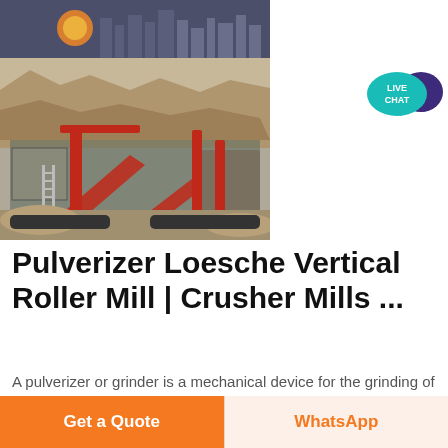[Figure (photo): Outdoor mining/quarry site with red industrial crusher and conveyor belt machinery, rocky terrain and city skyline in background]
[Figure (illustration): Live Chat button: teal speech bubble with 'LIVE CHAT' text and dark purple speech bubble icon]
Pulverizer Loesche Vertical Roller Mill | Crusher Mills ...
A pulverizer or grinder is a mechanical device for the grinding of many different types of materials. For
Get a Quote
WhatsApp